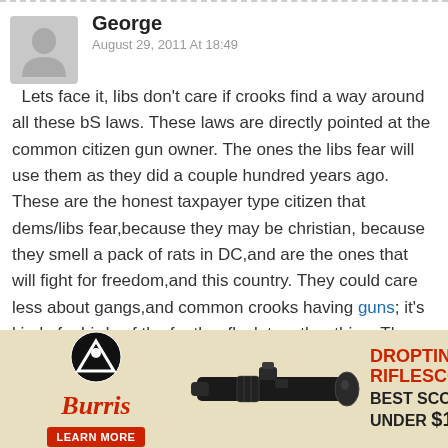George
August 29, 2011 At 18:49

Lets face it, libs don't care if crooks find a way around all these bS laws. These laws are directly pointed at the common citizen gun owner. The ones the libs fear will use them as they did a couple hundred years ago. These are the honest taxpayer type citizen that dems/libs fear,because they may be christian, because they smell a pack of rats in DC,and are the ones that will fight for freedom,and this country. They could care less about gangs,and common crooks having guns; it's kind of a birds of the feather flock together thing. They directly target [covered by ad] he will vote
[Figure (infographic): Burris Droptine Riflescope advertisement banner. Shows a rifle scope image, Burris logo, brand name in red italic script, 'LEARN MORE' red button, 'DROPTINE RIFLESCOPE' in red bold text, 'BEST SCOPE UNDER $150' in black bold text.]